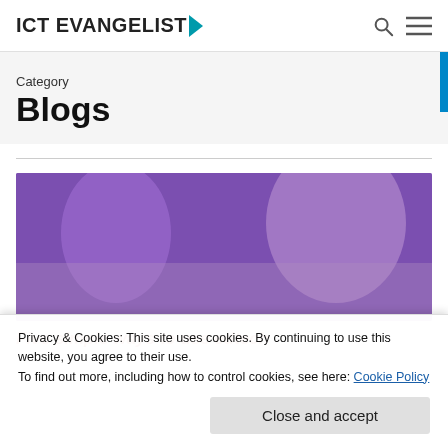ICT EVANGELIST
Category
Blogs
[Figure (photo): Purple-toned classroom photo with overlay text: Five simple ways to use edtech to support SEND in the classroom]
Five simple ways to use edtech
Privacy & Cookies: This site uses cookies. By continuing to use this website, you agree to their use.
To find out more, including how to control cookies, see here: Cookie Policy
Close and accept